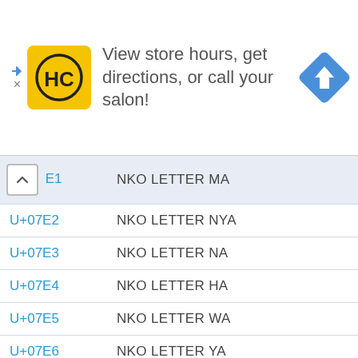[Figure (screenshot): Advertisement banner for a hair salon locator app. Shows HC logo (yellow background with black HC letters), text 'View store hours, get directions, or call your salon!', and a blue navigation/directions diamond icon.]
| Code | Name |
| --- | --- |
| E1 | NKO LETTER MA |
| U+07E2 | NKO LETTER NYA |
| U+07E3 | NKO LETTER NA |
| U+07E4 | NKO LETTER HA |
| U+07E5 | NKO LETTER WA |
| U+07E6 | NKO LETTER YA |
| U+07E7 | NKO LETTER NYA WOLOSO |
| U+07E8 | NKO LETTER JONA JA |
| U+07E9 | NKO LETTER JONA CHA |
| U+07EA | NKO LETTER JONA RA |